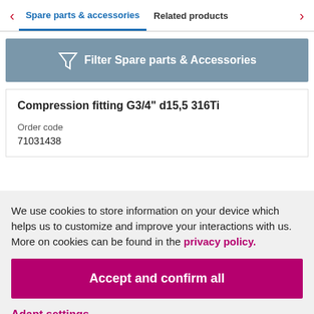Spare parts & accessories   Related products
Filter Spare parts & Accessories
Compression fitting G3/4" d15,5 316Ti
Order code
71031438
We use cookies to store information on your device which helps us to customize and improve your interactions with us. More on cookies can be found in the privacy policy.
Accept and confirm all
Adapt settings